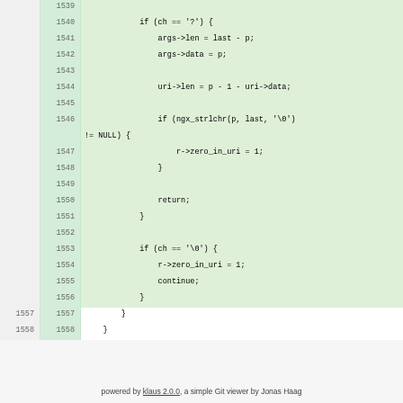[Figure (screenshot): Code diff view showing lines 1539-1558 of source code with green highlighting for added lines. The code is C/nginx source showing URI parsing logic with if statements for '?' and '\0' characters.]
powered by klaus 2.0.0, a simple Git viewer by Jonas Haag